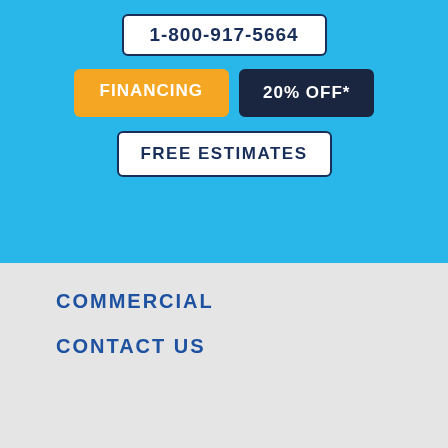1-800-917-5664
FINANCING
20% OFF*
FREE ESTIMATES
PRIVACY POLICY
[Figure (logo): Long Fence logo with registered trademark symbol on dark blue rounded rectangle background]
RESIDENTIAL
COMMERCIAL
CONTACT US